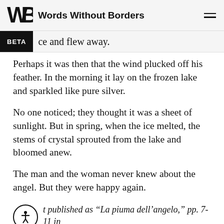Words Without Borders
ce and flew away.
Perhaps it was then that the wind plucked off his feather. In the morning it lay on the frozen lake and sparkled like pure silver.
No one noticed; they thought it was a sheet of sunlight. But in spring, when the ice melted, the stems of crystal sprouted from the lake and bloomed anew.
The man and the woman never knew about the angel. But they were happy again.
t published as “La piuma dell’angelo,” pp. 7-11 in Angeli (Trieste: Einaudi Ragazzi, 1999). Copyright